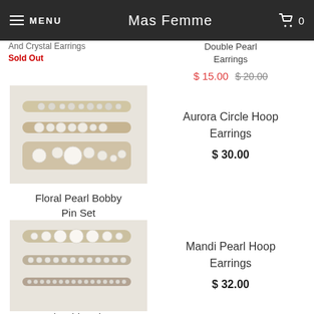MENU | Mas Femme | Cart 0
And Crystal Earrings
Sold Out
Double Pearl Earrings
$ 15.00  $ 20.00
[Figure (photo): Three floral pearl bobby pins arranged on a light background]
Floral Pearl Bobby Pin Set
$ 10.00
Aurora Circle Hoop Earrings
$ 30.00
[Figure (photo): Three pearl bobby pin sets arranged on a light background]
Pearl Bobby Pin Set
Mandi Pearl Hoop Earrings
$ 32.00